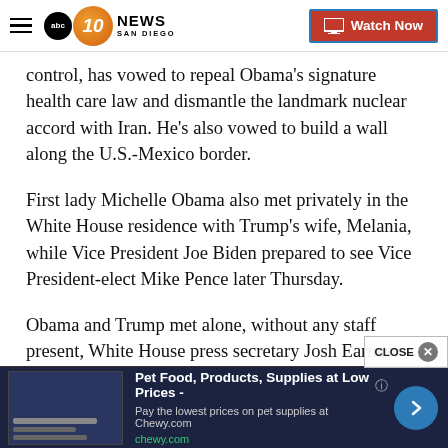10 NEWS SAN DIEGO - Watch Now
control, has vowed to repeal Obama's signature health care law and dismantle the landmark nuclear accord with Iran. He's also vowed to build a wall along the U.S.-Mexico border.
First lady Michelle Obama also met privately in the White House residence with Trump's wife, Melania, while Vice President Joe Biden prepared to see Vice President-elect Mike Pence later Thursday.
Obama and Trump met alone, without any staff present, White House press secretary Josh Earnest
[Figure (screenshot): Advertisement banner for Chewy.com: Pet Food, Products, Supplies at Low Prices - Pay the lowest prices on pet supplies at Chewy.com]